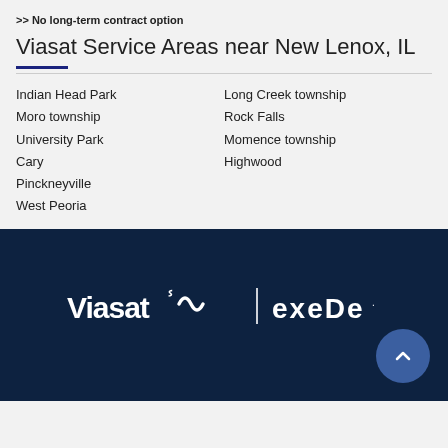>> No long-term contract option
Viasat Service Areas near New Lenox, IL
Indian Head Park
Moro township
University Park
Cary
Pinckneyville
West Peoria
Long Creek township
Rock Falls
Momence township
Highwood
[Figure (logo): Viasat and Exede logos side by side on a dark navy background]